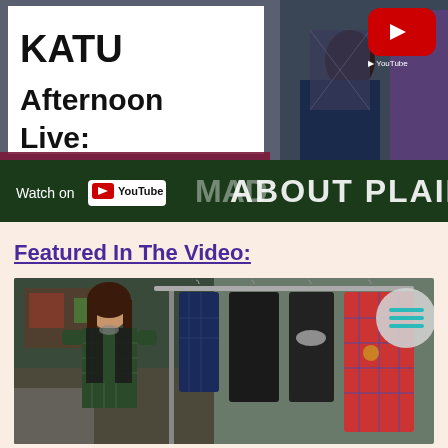[Figure (screenshot): YouTube video thumbnail for KATU Afternoon Live: Mad About Plaid. Shows two people with plaid clothing on the right side, a white text box on the upper left reading 'KATU Afternoon Live:', a YouTube play button in upper right, a maroon stripe, and a dark green banner at the bottom reading 'MAD ABOUT PLAID' with a 'Watch on YouTube' button.]
Featured In The Video:
[Figure (photo): Photo of a woman in a plaid dress with a black vest standing in front of a clothing rack displaying various plaid shirts and dark garments. A circular menu icon with teal lines is visible in the upper right corner of the photo.]